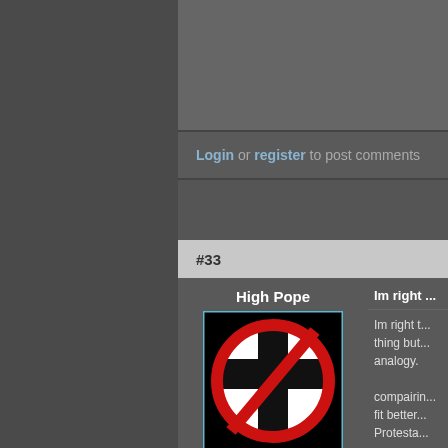Login or register to post comments
#33
High Pope
[Figure (illustration): Avatar image: black background with a red circle-and-slash prohibition symbol over a black Christian cross]
Posts: 55
Joined: 2007-05-11
Offline
Im right t... thing but... analogy.

compairin... fit better... Protesta...

In that se... Protesta...

Athiesm... we dont...

Theists d... we care,...

So its no... and try t...

You shou...